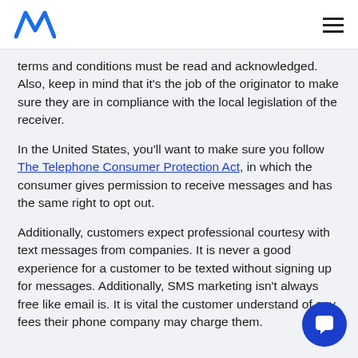[Logo] [Hamburger menu]
terms and conditions must be read and acknowledged. Also, keep in mind that it's the job of the originator to make sure they are in compliance with the local legislation of the receiver.
In the United States, you'll want to make sure you follow The Telephone Consumer Protection Act, in which the consumer gives permission to receive messages and has the same right to opt out.
Additionally, customers expect professional courtesy with text messages from companies. It is never a good experience for a customer to be texted without signing up for messages. Additionally, SMS marketing isn't always free like email is. It is vital the customer understand of any fees their phone company may charge them.